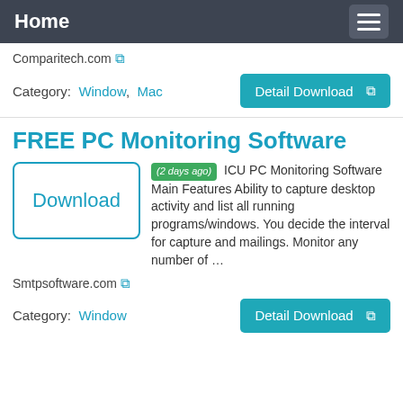Home
Comparitech.com
Category: Window, Mac
Detail Download
FREE PC Monitoring Software
Download
(2 days ago) ICU PC Monitoring Software Main Features Ability to capture desktop activity and list all running programs/windows. You decide the interval for capture and mailings. Monitor any number of …
Smtpsoftware.com
Category: Window
Detail Download